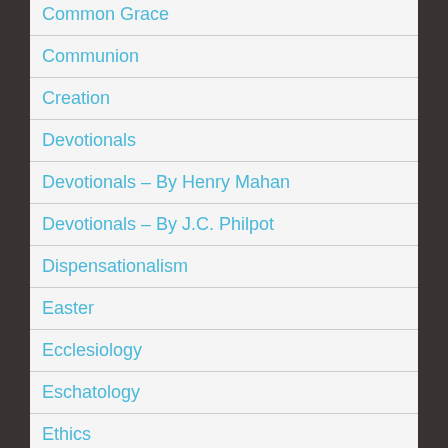Common Grace
Communion
Creation
Devotionals
Devotionals – By Henry Mahan
Devotionals – By J.C. Philpot
Dispensationalism
Easter
Ecclesiology
Eschatology
Ethics
False Teachers